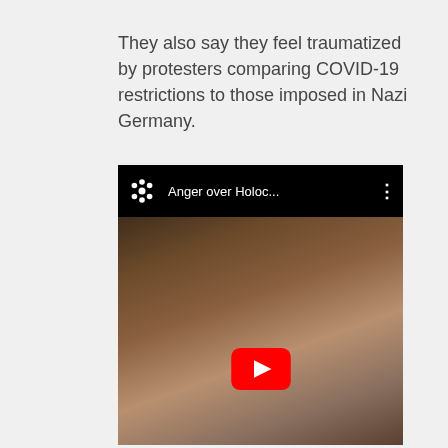They also say they feel traumatized by protesters comparing COVID-19 restrictions to those imposed in Nazi Germany.
[Figure (screenshot): A CBC News YouTube video thumbnail titled 'Anger over Holoc...' showing an elderly man wearing a kippah, with a red YouTube play button overlaid in the center.]